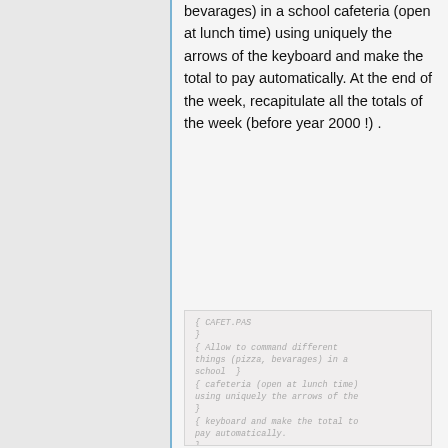bevarages) in a school cafeteria (open at lunch time) using uniquely the arrows of the keyboard and make the total to pay automatically. At the end of the week, recapitulate all the totals of the week (before year 2000 !) .
[Figure (screenshot): Code block showing Pascal source file CAFET.PAS with comments describing the program functionality]